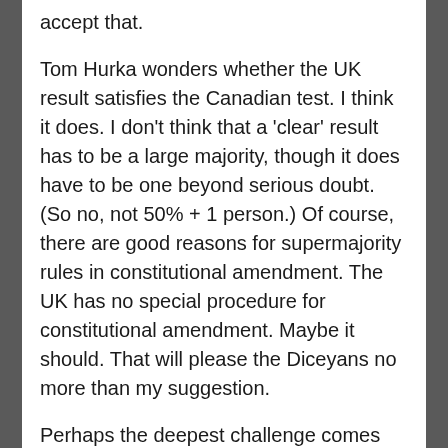accept that.
Tom Hurka wonders whether the UK result satisfies the Canadian test. I think it does. I don't think that a 'clear' result has to be a large majority, though it does have to be one beyond serious doubt. (So no, not 50% + 1 person.) Of course, there are good reasons for supermajority rules in constitutional amendment. The UK has no special procedure for constitutional amendment. Maybe it should. That will please the Diceyans no more than my suggestion.
Perhaps the deepest challenge comes from Chris Bertram. I have some sympathy for his point that the electorate for this referendum was wrongly constructed. And I agree that 'the people' has no 'natural' definition. Nonetheless, I do think that